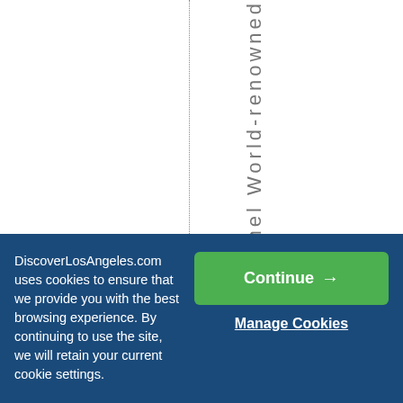[Figure (other): White background area with a vertical dotted line on the left side and vertical text reading 'amel World-renowned' on the right side, displayed character by character top to bottom.]
DiscoverLosAngeles.com uses cookies to ensure that we provide you with the best browsing experience. By continuing to use the site, we will retain your current cookie settings.
Continue →
Manage Cookies